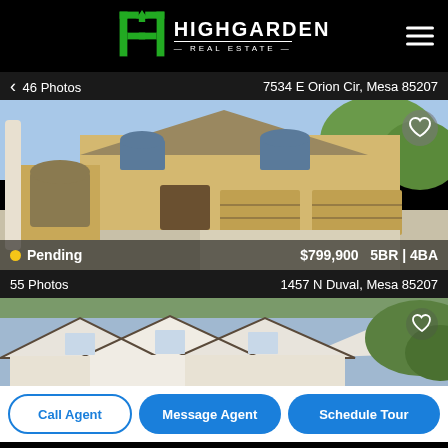HIGHGARDEN REAL ESTATE
46 Photos   7534 E Orion Cir, Mesa 85207
[Figure (photo): Exterior photo of a large two-story stucco home with three-car garage, arched entryway, tile roof, and large tree in Mesa, AZ]
Pending  $799,900  5BR | 4BA
55 Photos   1457 N Duval, Mesa 85207
[Figure (photo): Exterior photo of a house with white trim and dark roof tiles, partially visible]
Call Agent   Message Agent   Schedule Tour